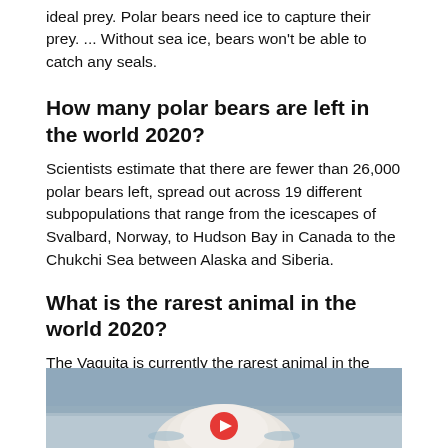ideal prey. Polar bears need ice to capture their prey. ... Without sea ice, bears won't be able to catch any seals.
How many polar bears are left in the world 2020?
Scientists estimate that there are fewer than 26,000 polar bears left, spread out across 19 different subpopulations that range from the icescapes of Svalbard, Norway, to Hudson Bay in Canada to the Chukchi Sea between Alaska and Siberia.
What is the rarest animal in the world 2020?
The Vaquita is currently the rarest animal in the world, and quite possibly the most endangered, with only about 10 individuals left in the wild.
[Figure (photo): Photo of a polar bear swimming in water, viewed from behind, with a red play button overlay at the bottom center]